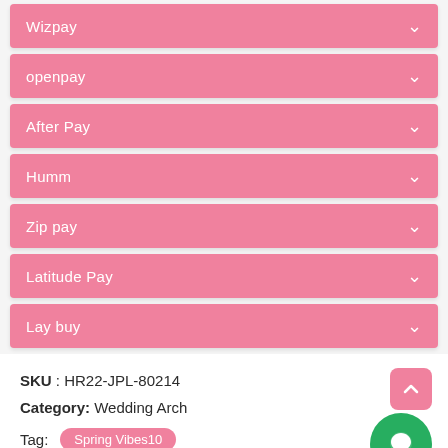Wizpay
openpay
After Pay
Humm
Zip pay
Latitude Pay
Lay buy
SKU : HR22-JPL-80214
Category: Wedding Arch
Tag: Spring Vibes10